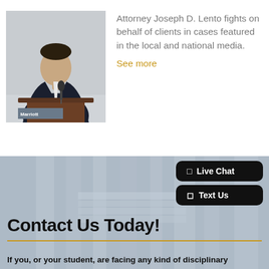[Figure (photo): Attorney Joseph D. Lento standing at a podium with a Marriott sign, wearing a dark suit and tie, speaking at an event.]
Attorney Joseph D. Lento fights on behalf of clients in cases featured in the local and national media.
See more
[Figure (photo): Background image of courthouse columns or legal building, overlaid with semi-transparent gray wash.]
Live Chat
Text Us
Contact Us Today!
If you, or your student, are facing any kind of disciplinary